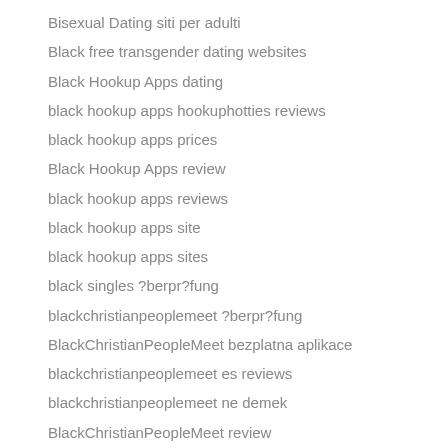Bisexual Dating siti per adulti
Black free transgender dating websites
Black Hookup Apps dating
black hookup apps hookuphotties reviews
black hookup apps prices
Black Hookup Apps review
black hookup apps reviews
black hookup apps site
black hookup apps sites
black singles ?berpr?fung
blackchristianpeoplemeet ?berpr?fung
BlackChristianPeopleMeet bezplatna aplikace
blackchristianpeoplemeet es reviews
blackchristianpeoplemeet ne demek
BlackChristianPeopleMeet review